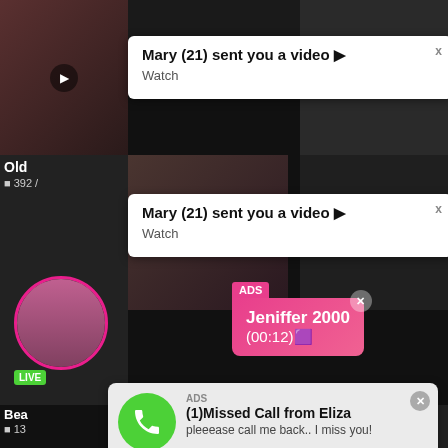[Figure (screenshot): Background grid of video thumbnails, dark]
Mary (21) sent you a video ▶ Watch
Mary (21) sent you a video ▶ Watch
ADS
Jeniffer 2000
(00:12)🔲
ADS
(1)Missed Call from Eliza
pleeease call me back.. I miss you!
Old
■ 392 /
Bea
■ 13
0:00   3:23